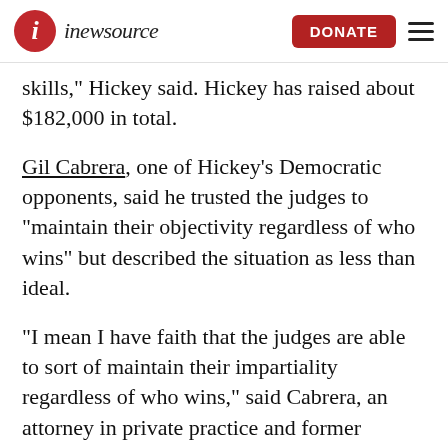inewsource | DONATE
skills," Hickey said. Hickey has raised about $182,000 in total.
Gil Cabrera, one of Hickey's Democratic opponents, said he trusted the judges to “maintain their objectivity regardless of who wins” but described the situation as less than ideal.
“I mean I have faith that the judges are able to sort of maintain their impartiality regardless of who wins,” said Cabrera, an attorney in private practice and former chairman of the San Diego City Ethics Commission. “I mean, but nonpartisan, his...